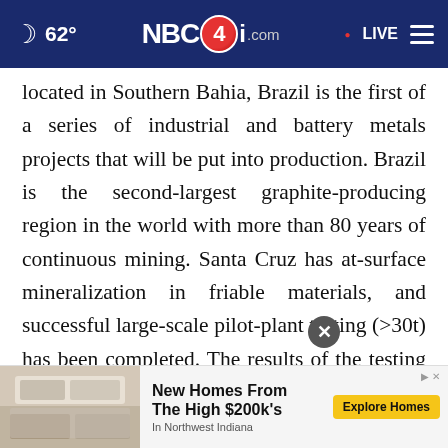NBC4i.com | 62° | LIVE
located in Southern Bahia, Brazil is the first of a series of industrial and battery metals projects that will be put into production. Brazil is the second-largest graphite-producing region in the world with more than 80 years of continuous mining. Santa Cruz has at-surface mineralization in friable materials, and successful large-scale pilot-plant testing (>30t) has been completed. The results of the testing sh[×] that appr[ad overlay]s +80 mesh with good recoveries and 95%-99% Cg.
[Figure (screenshot): Advertisement overlay: New Homes From The High $200k's In Northwest Indiana, with Explore Homes button and kitchen photo]